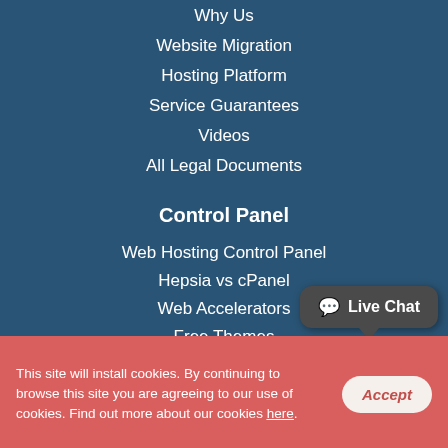Why Us
Website Migration
Hosting Platform
Service Guarantees
Videos
All Legal Documents
Control Panel
Web Hosting Control Panel
Hepsia vs cPanel
Web Accelerators
Free Themes
Domain Name Manager
File Manager
Hepsia Email Manager
Stats Manager
[Figure (illustration): Live Chat speech bubble button in dark grey with white text and chat icon]
This site will install cookies. By continuing to browse this site you are agreeing to our use of cookies. Find out more about our cookies here.